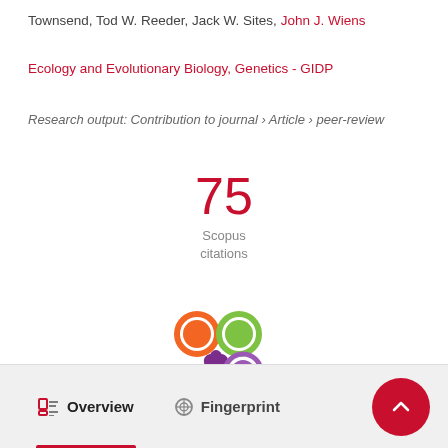Townsend, Tod W. Reeder, Jack W. Sites, John J. Wiens
Ecology and Evolutionary Biology, Genetics - GIDP
Research output: Contribution to journal › Article › peer-review
[Figure (infographic): 75 Scopus citations metric display]
[Figure (logo): Altmetric donut logo with colored circles (orange, green, purple) and purple asterisk/splat shape]
Overview   Fingerprint